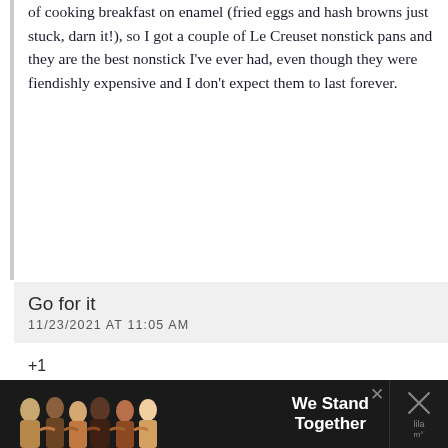of cooking breakfast on enamel (fried eggs and hash browns just stuck, darn it!), so I got a couple of Le Creuset nonstick pans and they are the best nonstick I've ever had, even though they were fiendishly expensive and I don't expect them to last forever.
Go for it
11/23/2021 AT 11:05 AM
+1
Anon
11/23/2021 AT 11:41 AM
+1 Don't bother with non stick.
Cat
11/23/2021 AT 12:23 PM
[Figure (screenshot): Advertisement banner at bottom: dark background with people and 'We Stand Together' text]